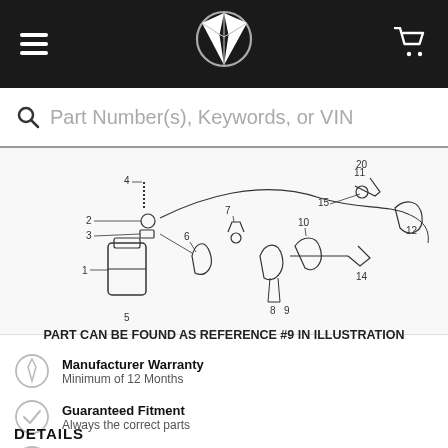Mercedes-Benz parts website header with navigation, logo and cart
Part Number(s), Keywords, or VIN
[Figure (engineering-diagram): Exploded parts diagram with numbered components (1-20) showing Mercedes-Benz parts assembly]
PART CAN BE FOUND AS REFERENCE #9 IN ILLUSTRATION
Manufacturer Warranty - Minimum of 12 Months
Guaranteed Fitment - Always the correct parts
Shop with Confidence - Your information is safe
In-House Experts - We know our products
DETAILS